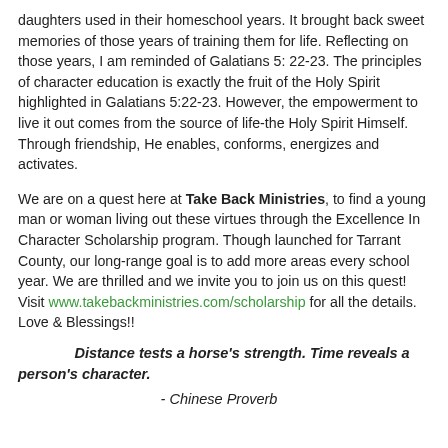daughters used in their homeschool years. It brought back sweet memories of those years of training them for life. Reflecting on those years, I am reminded of Galatians 5: 22-23. The principles of character education is exactly the fruit of the Holy Spirit highlighted in Galatians 5:22-23. However, the empowerment to live it out comes from the source of life-the Holy Spirit Himself. Through friendship, He enables, conforms, energizes and activates.
We are on a quest here at Take Back Ministries, to find a young man or woman living out these virtues through the Excellence In Character Scholarship program. Though launched for Tarrant County, our long-range goal is to add more areas every school year. We are thrilled and we invite you to join us on this quest! Visit www.takebackministries.com/scholarship for all the details. Love & Blessings!!
Distance tests a horse's strength. Time reveals a person's character.
- Chinese Proverb